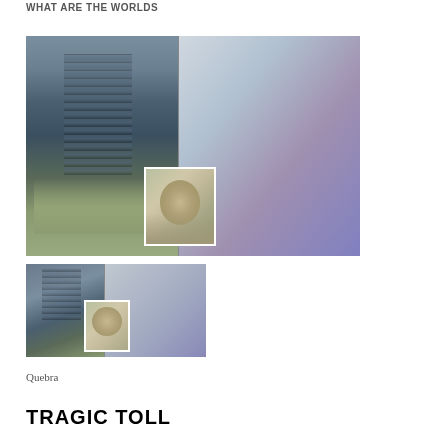what are the worlds
[Figure (photo): Composite news photo: left shows a partially collapsed multi-story building with debris and dust; right shows two people embracing in distress; center inset shows a portrait of a woman with gray-streaked hair and glasses]
[Figure (photo): Smaller version composite of the same news photos: building collapse on left, people embracing on right, small portrait inset]
Quebra
TRAGIC TOLL